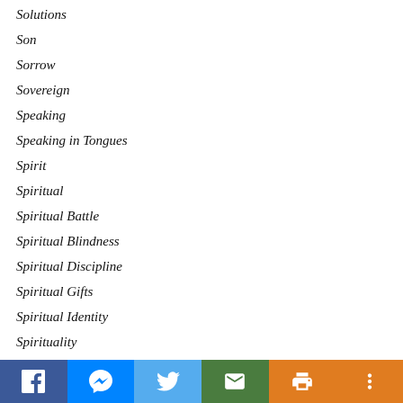Solutions
Son
Sorrow
Sovereign
Speaking
Speaking in Tongues
Spirit
Spiritual
Spiritual Battle
Spiritual Blindness
Spiritual Discipline
Spiritual Gifts
Spiritual Identity
Spirituality
Spiritual Thinking
Steadfast